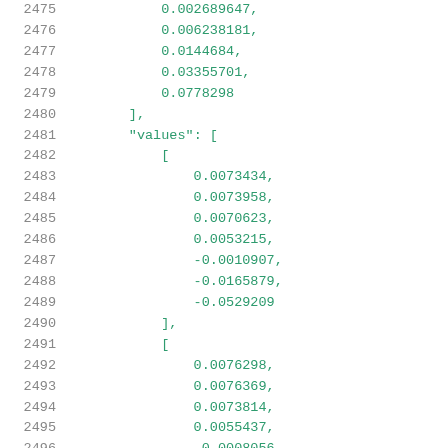2475    0.002689647,
2476    0.006238181,
2477    0.0144684,
2478    0.03355701,
2479    0.0778298
2480  ],
2481  "values": [
2482    [
2483      0.0073434,
2484      0.0073958,
2485      0.0070623,
2486      0.0053215,
2487      -0.0010907,
2488      -0.0165879,
2489      -0.0529209
2490    ],
2491    [
2492      0.0076298,
2493      0.0076369,
2494      0.0073814,
2495      0.0055437,
2496      -0.0008056